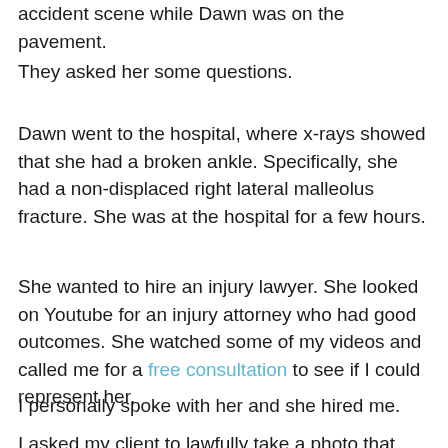accident scene while Dawn was on the pavement.
They asked her some questions.
Dawn went to the hospital, where x-rays showed that she had a broken ankle. Specifically, she had a non-displaced right lateral malleolus fracture. She was at the hospital for a few hours.
She wanted to hire an injury lawyer. She looked on Youtube for an injury attorney who had good outcomes. She watched some of my videos and called me for a free consultation to see if I could represent her.
I personally spoke with her and she hired me.
I asked my client to lawfully take a photo that